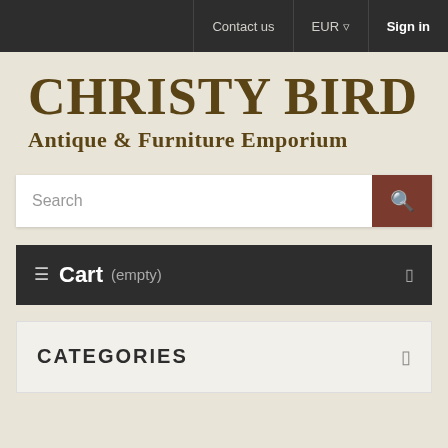Contact us | EUR ▾ | Sign in
CHRISTY BIRD
Antique & Furniture Emporium
Search
☰  Cart (empty)
CATEGORIES